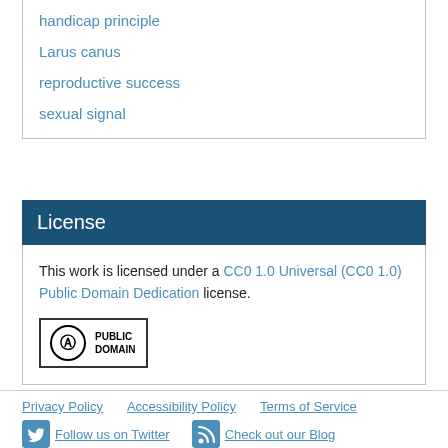handicap principle
Larus canus
reproductive success
sexual signal
License
This work is licensed under a CC0 1.0 Universal (CC0 1.0) Public Domain Dedication license.
[Figure (logo): CC0 Public Domain badge with circle-zero icon]
Privacy Policy   Accessibility Policy   Terms of Service
Follow us on Twitter   Check out our Blog